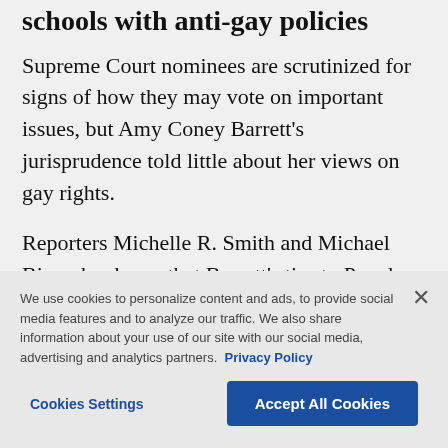schools with anti-gay policies
Supreme Court nominees are scrutinized for signs of how they may vote on important issues, but Amy Coney Barrett's jurisprudence told little about her views on gay rights.
Reporters Michelle R. Smith and Michael Biesecker knew that Barrett's ties to People of Praise, a religious group with
We use cookies to personalize content and ads, to provide social media features and to analyze our traffic. We also share information about your use of our site with our social media, advertising and analytics partners. Privacy Policy
Cookies Settings | Accept All Cookies